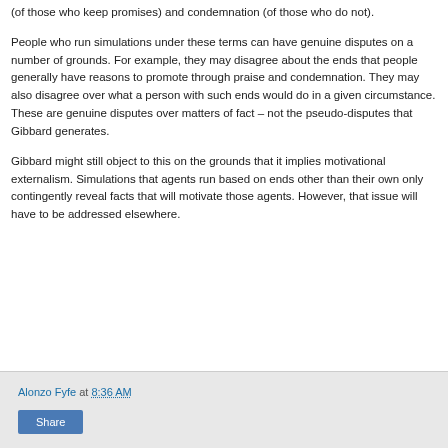(of those who keep promises) and condemnation (of those who do not).
People who run simulations under these terms can have genuine disputes on a number of grounds. For example, they may disagree about the ends that people generally have reasons to promote through praise and condemnation. They may also disagree over what a person with such ends would do in a given circumstance. These are genuine disputes over matters of fact – not the pseudo-disputes that Gibbard generates.
Gibbard might still object to this on the grounds that it implies motivational externalism. Simulations that agents run based on ends other than their own only contingently reveal facts that will motivate those agents. However, that issue will have to be addressed elsewhere.
Alonzo Fyfe at 8:36 AM   Share